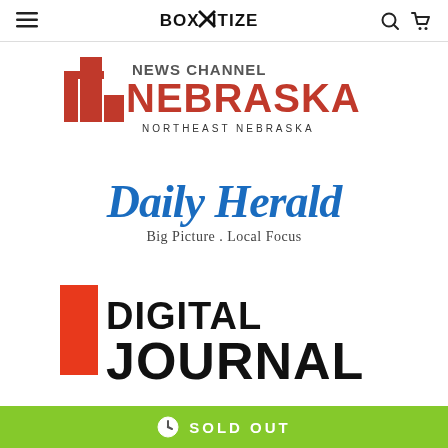BOXITIZE
[Figure (logo): News Channel Nebraska - Northeast Nebraska logo with red building icon and red/black text]
[Figure (logo): Daily Herald logo in blue italic serif font with tagline 'Big Picture . Local Focus']
[Figure (logo): Digital Journal logo with orange-red square and bold black text reading DIGITAL JOURNAL]
SOLD OUT